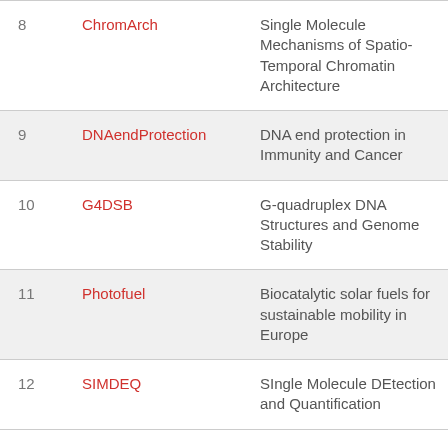| # | Name | Description |
| --- | --- | --- |
| 8 | ChromArch | Single Molecule Mechanisms of Spatio-Temporal Chromatin Architecture |
| 9 | DNAendProtection | DNA end protection in Immunity and Cancer |
| 10 | G4DSB | G-quadruplex DNA Structures and Genome Stability |
| 11 | Photofuel | Biocatalytic solar fuels for sustainable mobility in Europe |
| 12 | SIMDEQ | SIngle Molecule DEtection and Quantification (SIMDEQ)... |